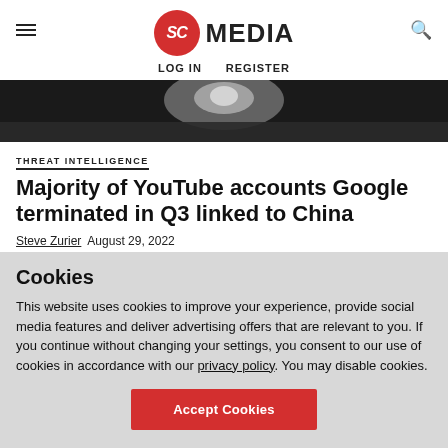SC MEDIA | LOG IN  REGISTER
[Figure (photo): Dark hero image with blurred bright spot, appears to be a security/tech related photograph]
THREAT INTELLIGENCE
Majority of YouTube accounts Google terminated in Q3 linked to China
Steve Zurier  August 29, 2022
While some of the 1,546 YouTube channels terminated by Google
Cookies
This website uses cookies to improve your experience, provide social media features and deliver advertising offers that are relevant to you. If you continue without changing your settings, you consent to our use of cookies in accordance with our privacy policy. You may disable cookies.
Accept Cookies